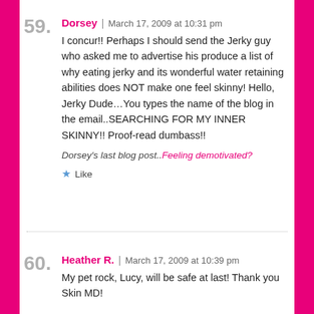59.
Dorsey | March 17, 2009 at 10:31 pm
I concur!! Perhaps I should send the Jerky guy who asked me to advertise his produce a list of why eating jerky and its wonderful water retaining abilities does NOT make one feel skinny! Hello, Jerky Dude…You types the name of the blog in the email..SEARCHING FOR MY INNER SKINNY!! Proof-read dumbass!!
Dorsey's last blog post..Feeling demotivated?
Like
60.
Heather R. | March 17, 2009 at 10:39 pm
My pet rock, Lucy, will be safe at last! Thank you Skin MD!